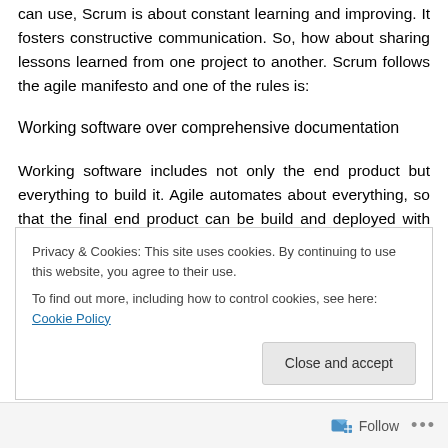can use, Scrum is about constant learning and improving. It fosters constructive communication. So, how about sharing lessons learned from one project to another. Scrum follows the agile manifesto and one of the rules is:
Working software over comprehensive documentation
Working software includes not only the end product but everything to build it. Agile automates about everything, so that the final end product can be build and deployed with the push of a button. Some call this executable documentation. In the case of the former post 'Über den
Privacy & Cookies: This site uses cookies. By continuing to use this website, you agree to their use.
To find out more, including how to control cookies, see here: Cookie Policy
Close and accept
Follow ...